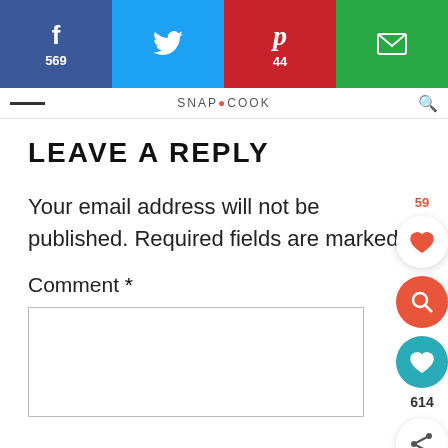[Figure (screenshot): Social sharing bar with Facebook (569), Twitter, Pinterest (44), and Email buttons]
SNAPCOOKBOOK navigation bar
LEAVE A REPLY
Your email address will not be published. Required fields are marked *
Comment *